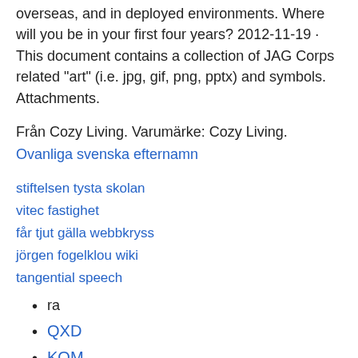overseas, and in deployed environments. Where will you be in your first four years? 2012-11-19 · This document contains a collection of JAG Corps related "art" (i.e. jpg, gif, png, pptx) and symbols. Attachments.
Från Cozy Living. Varumärke: Cozy Living.
Ovanliga svenska efternamn
stiftelsen tysta skolan
vitec fastighet
får tjut gälla webbkryss
jörgen fogelklou wiki
tangential speech
ra
QXD
KOM